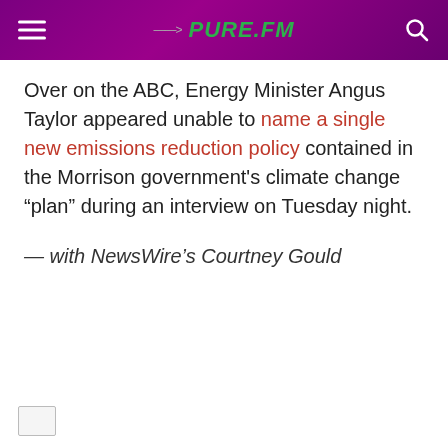PURE.FM
Over on the ABC, Energy Minister Angus Taylor appeared unable to name a single new emissions reduction policy contained in the Morrison government's climate change “plan” during an interview on Tuesday night.
— with NewsWire’s Courtney Gould